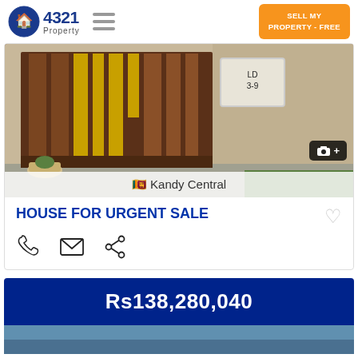[Figure (logo): 4321 Property logo with house icon]
SELL MY PROPERTY - FREE
[Figure (photo): Property gate photo showing wooden gate with yellow accents and concrete wall]
🇱🇰 Kandy Central
HOUSE FOR URGENT SALE
[Figure (infographic): Contact icons: phone, email, share]
Rs138,280,040